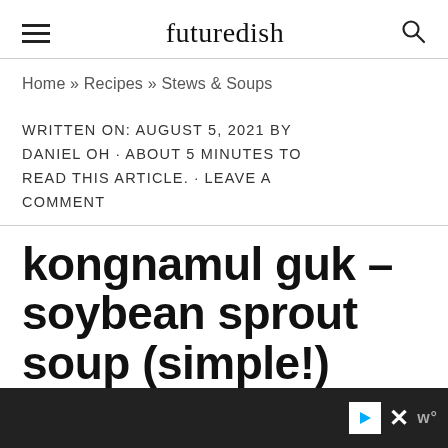futuredish
Home » Recipes » Stews & Soups
WRITTEN ON: AUGUST 5, 2021 BY DANIEL OH · ABOUT 5 MINUTES TO READ THIS ARTICLE. · LEAVE A COMMENT
kongnamul guk – soybean sprout soup (simple!)